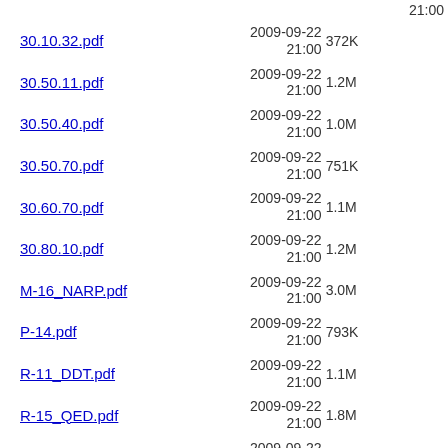21:00
30.10.32.pdf  2009-09-22 21:00  372K
30.50.11.pdf  2009-09-22 21:00  1.2M
30.50.40.pdf  2009-09-22 21:00  1.0M
30.50.70.pdf  2009-09-22 21:00  751K
30.60.70.pdf  2009-09-22 21:00  1.1M
30.80.10.pdf  2009-09-22 21:00  1.2M
M-16_NARP.pdf  2009-09-22 21:00  3.0M
P-14.pdf  2009-09-22 21:00  793K
R-11_DDT.pdf  2009-09-22 21:00  1.1M
R-15_QED.pdf  2009-09-22 21:00  1.8M
R-21_TSSrefMan.pdf  2009-09-22 21:01  4.6M